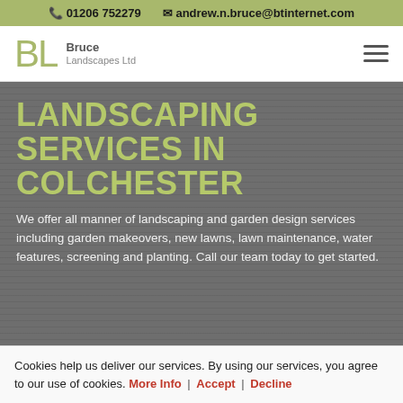📞 01206 752279  ✉ andrew.n.bruce@btinternet.com
[Figure (logo): Bruce Landscapes Ltd logo with stylized BL letters in olive green]
LANDSCAPING SERVICES IN COLCHESTER
We offer all manner of landscaping and garden design services including garden makeovers, new lawns, lawn maintenance, water features, screening and planting. Call our team today to get started.
Cookies help us deliver our services. By using our services, you agree to our use of cookies. More Info | Accept | Decline